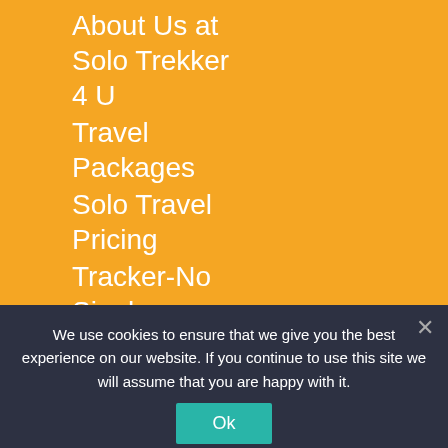About Us at Solo Trekker 4 U
Travel Packages
Solo Travel Pricing
Tracker-No Single Supplement
Blog
Contact Us
Terms of
We use cookies to ensure that we give you the best experience on our website. If you continue to use this site we will assume that you are happy with it.
Ok